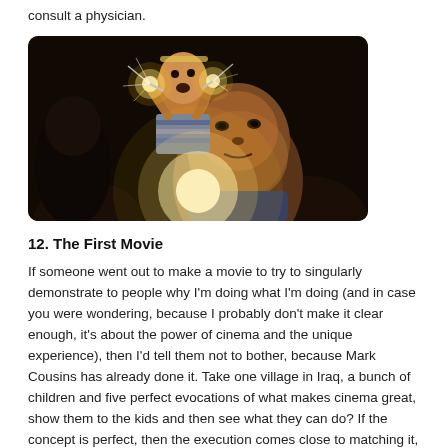consult a physician.
[Figure (photo): Dark photograph of two boys; one younger boy in a striped shirt is lifted up holding glowing sparklers above his head with mouth open in wonder; an older boy in the foreground looks upward, illuminated by bright light from below, against a dark background.]
12. The First Movie
If someone went out to make a movie to try to singularly demonstrate to people why I'm doing what I'm doing (and in case you were wondering, because I probably don't make it clear enough, it's about the power of cinema and the unique experience), then I'd tell them not to bother, because Mark Cousins has already done it. Take one village in Iraq, a bunch of children and five perfect evocations of what makes cinema great, show them to the kids and then see what they can do? If the concept is perfect, then the execution comes close to matching it,